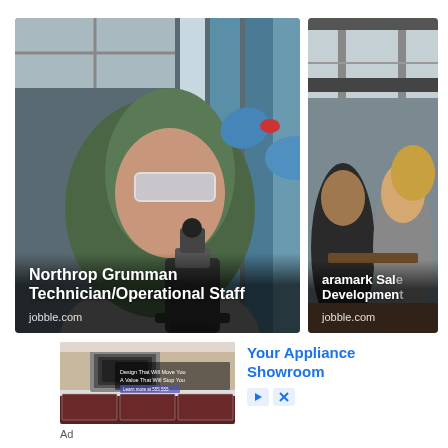[Figure (photo): Job advertisement card: Woman in hijab and safety goggles working with a microscope in a lab. Text overlay: 'Northrop Grumman Technician/Operational Staff' and 'jobble.com']
[Figure (photo): Job advertisement card (partially cropped): Two people in a meeting/office setting. Text overlay: 'aramark Sale... Developmen...' and 'jobble.com']
[Figure (photo): Advertisement image: Kitchen appliance showroom with oven and dark cabinetry. Text overlay reads: 'Design That Will Move You / Value That Will Stop You']
Your Appliance Showroom
Ad